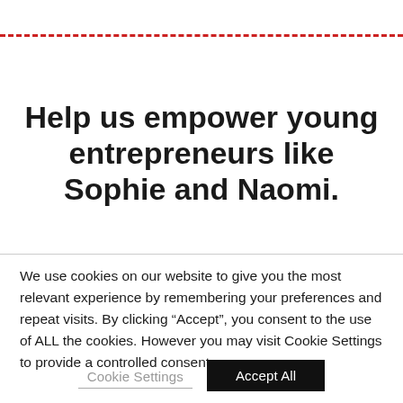Help us empower young entrepreneurs like Sophie and Naomi.
We use cookies on our website to give you the most relevant experience by remembering your preferences and repeat visits. By clicking “Accept”, you consent to the use of ALL the cookies. However you may visit Cookie Settings to provide a controlled consent.
Cookie Settings   Accept All